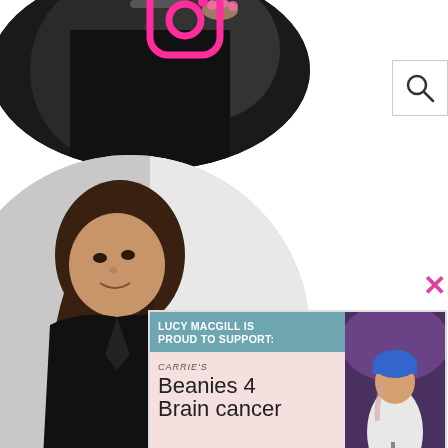[Figure (photo): Circular cropped photo at top showing person in black outfit holding a bag, with Instagram logo overlay in pink]
[Figure (screenshot): Search icon / magnifying glass button in top right corner]
[Figure (photo): Circular cropped photo of a woman with long brown hair in a black jacket, smiling]
×
[Figure (infographic): Charity card overlay: 'LUCY MACGILL IS PROUD TO SUPPORT: CARRIE'S Beanies 4 Brain Cancer' with photo of woman in blue beanie on stage]